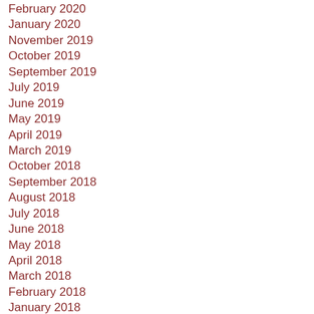February 2020
January 2020
November 2019
October 2019
September 2019
July 2019
June 2019
May 2019
April 2019
March 2019
October 2018
September 2018
August 2018
July 2018
June 2018
May 2018
April 2018
March 2018
February 2018
January 2018
December 2017
November 2017
October 2017